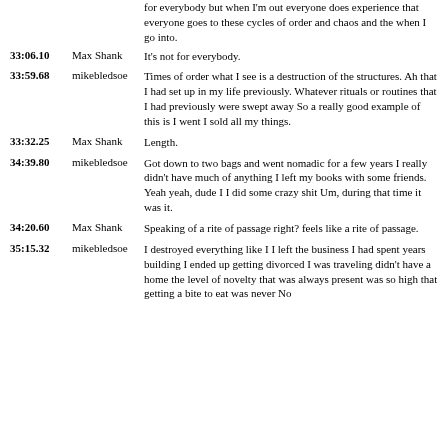for everybody but when I'm out everyone does experience that everyone goes to these cycles of order and chaos and the when I go into.
33:06.10  Max Shank  It's not for everybody.
33:59.68  mikebledsoe  Times of order what I see is a destruction of the structures. Ah that I had set up in my life previously. Whatever rituals or routines that I had previously were swept away So a really good example of this is I went I sold all my things.
33:32.25  Max Shank  Length.
34:39.80  mikebledsoe  Got down to two bags and went nomadic for a few years I really didn't have much of anything I left my books with some friends. Yeah yeah, dude I I did some crazy shit Um, during that time it was it.
34:20.60  Max Shank  Speaking of a rite of passage right? feels like a rite of passage.
35:15.32  mikebledsoe  I destroyed everything like I I left the business I had spent years building I ended up getting divorced I was traveling didn't have a home the level of novelty that was always present was so high that getting a bite to eat was never No...